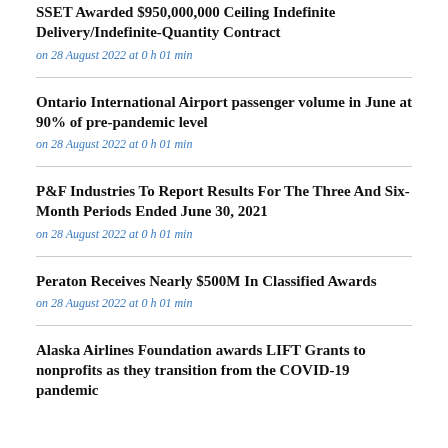SSET Awarded $950,000,000 Ceiling Indefinite Delivery/Indefinite-Quantity Contract
on 28 August 2022 at 0 h 01 min
Ontario International Airport passenger volume in June at 90% of pre-pandemic level
on 28 August 2022 at 0 h 01 min
P&F Industries To Report Results For The Three And Six-Month Periods Ended June 30, 2021
on 28 August 2022 at 0 h 01 min
Peraton Receives Nearly $500M In Classified Awards
on 28 August 2022 at 0 h 01 min
Alaska Airlines Foundation awards LIFT Grants to nonprofits as they transition from the COVID-19 pandemic